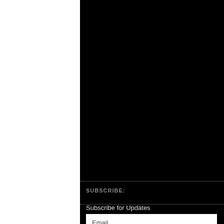[Figure (other): Black background covering most of the page content area, split by a dotted horizontal divider line around the middle]
SUBSCRIBE:
Subscribe for Updates
Email